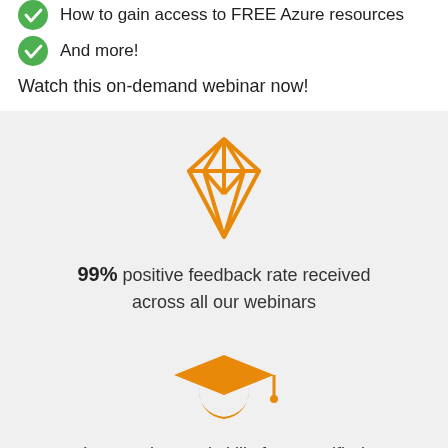How to gain access to FREE Azure resources
And more!
Watch this on-demand webinar now!
[Figure (illustration): Orange outline diamond/gem icon]
99% positive feedback rate received across all our webinars
[Figure (illustration): Orange graduation cap icon]
Learn advanced skills from certified